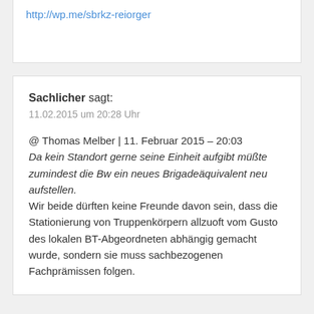http://wp.me/sbrkz-reiorger
Sachlicher sagt:
11.02.2015 um 20:28 Uhr
@ Thomas Melber | 11. Februar 2015 – 20:03
Da kein Standort gerne seine Einheit aufgibt müßte zumindest die Bw ein neues Brigadeäquivalent neu aufstellen.
Wir beide dürften keine Freunde davon sein, dass die Stationierung von Truppenkörpern allzuoft vom Gusto des lokalen BT-Abgeordneten abhängig gemacht wurde, sondern sie muss sachbezogenen Fachprämissen folgen.